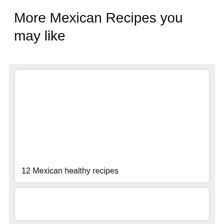More Mexican Recipes you may like
12 Mexican healthy recipes